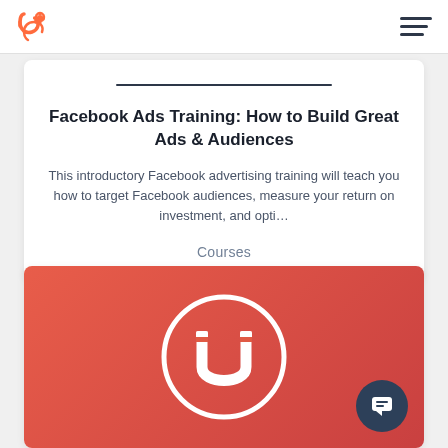HubSpot header with logo and hamburger menu
Facebook Ads Training: How to Build Great Ads & Audiences
This introductory Facebook advertising training will teach you how to target Facebook audiences, measure your return on investment, and opti...
Courses
[Figure (illustration): Red/coral gradient card with a white magnet icon in a circle, and a dark chat button in the bottom right corner]